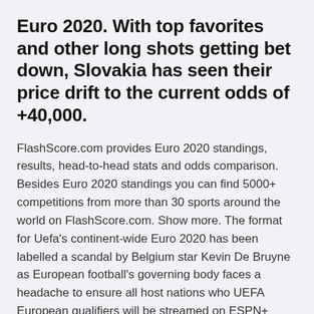Euro 2020. With top favorites and other long shots getting bet down, Slovakia has seen their price drift to the current odds of +40,000.
FlashScore.com provides Euro 2020 standings, results, head-to-head stats and odds comparison. Besides Euro 2020 standings you can find 5000+ competitions from more than 30 sports around the world on FlashScore.com. Show more. The format for Uefa's continent-wide Euro 2020 has been labelled a scandal by Belgium star Kevin De Bruyne as European football's governing body faces a headache to ensure all host nations who UEFA European qualifiers will be streamed on ESPN+ (English) and Spain and found themselves knocked out by Sweden in the playoffs F looks to be